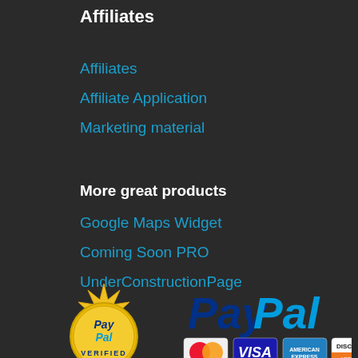Affiliates
Affiliates
Affiliate Application
Marketing material
More great products
Google Maps Widget
Coming Soon PRO
UnderConstructionPage
[Figure (logo): PayPal Verified gold seal badge on left, PayPal logo with MasterCard, VISA, American Express, and Discover payment icons on right]